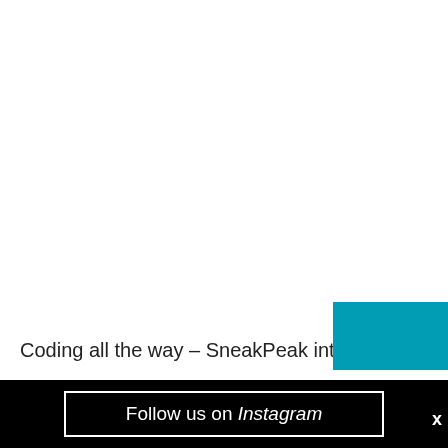Coding all the way – SneakPeak into their
Follow us on Instagram